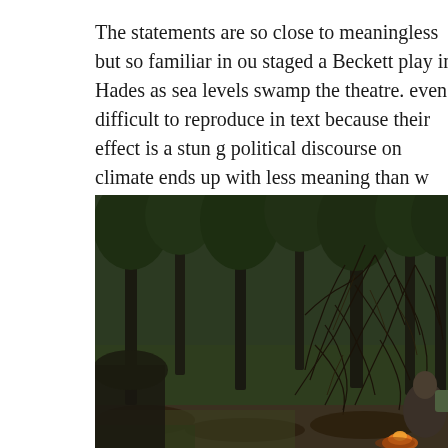The statements are so close to meaningless but so familiar in our staged a Beckett play in Hades as sea levels swamp the theatre. even difficult to reproduce in text because their effect is a stun g political discourse on climate ends up with less meaning than w point. Nothing will be solved this way.
[Figure (photo): A forest scene with tall pine trees, tangled bare branches in the foreground, and a person partially visible at the lower right near a campfire.]